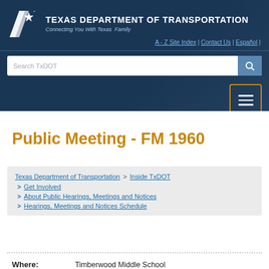[Figure (logo): Texas Department of Transportation logo with star and highway icon]
TEXAS DEPARTMENT OF TRANSPORTATION
Connecting You With Texas Family
A - Z Site Index | Contact Us | Español |
Public Meeting - FM 1960
Texas Department of Transportation > Inside TxDOT
> Get Involved
> About Public Hearings, Meetings and Notices
> Hearings, Meetings and Notices Schedule
Where:	Timberwood Middle School
18450 Timber Forest Drive